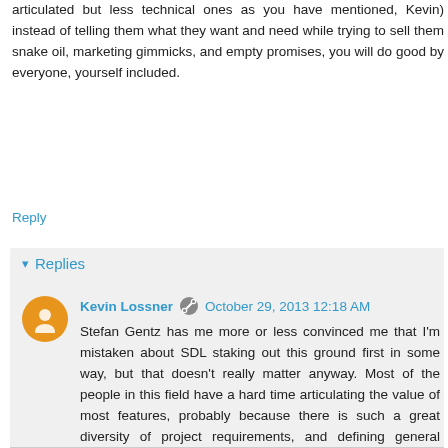articulated but less technical ones as you have mentioned, Kevin) instead of telling them what they want and need while trying to sell them snake oil, marketing gimmicks, and empty promises, you will do good by everyone, yourself included.
Reply
Replies
Kevin Lossner  October 29, 2013 12:18 AM
Stefan Gentz has me more or less convinced me that I'm mistaken about SDL staking out this ground first in some way, but that doesn't really matter anyway. Most of the people in this field have a hard time articulating the value of most features, probably because there is such a great diversity of project requirements, and defining general principles isn't trivial. Have a look at the latest post on this release and the new video that shows this feature and a few things about tracked changes.